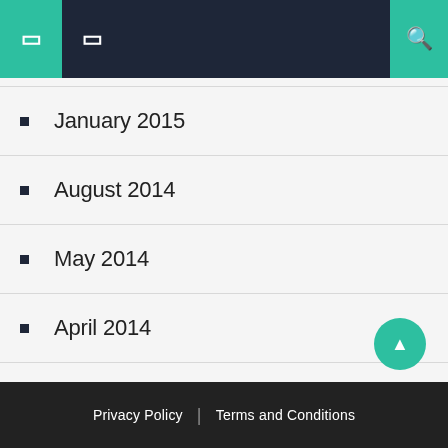Navigation header with icons
January 2015
August 2014
May 2014
April 2014
October 2013
May 2011
August 2010
Privacy Policy | Terms and Conditions